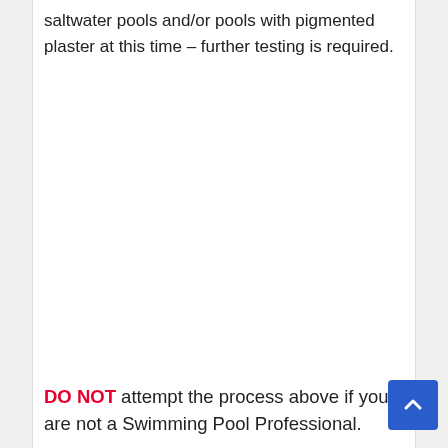saltwater pools and/or pools with pigmented plaster at this time – further testing is required.
DO NOT attempt the process above if you are not a Swimming Pool Professional.